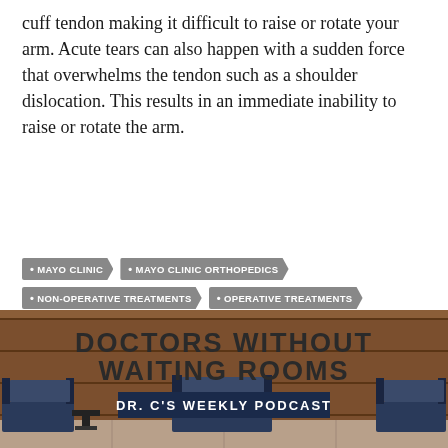cuff tendon making it difficult to raise or rotate your arm. Acute tears can also happen with a sudden force that overwhelms the tendon such as a shoulder dislocation. This results in an immediate inability to raise or rotate the arm.
MAYO CLINIC
MAYO CLINIC ORTHOPEDICS
NON-OPERATIVE TREATMENTS
OPERATIVE TREATMENTS
ROTATOR CUFF
ROTATOR CUFF INJURIES
ROTATOR CUFF TEARS
SHOULDERS
VIDEOS
[Figure (illustration): Illustrated waiting room scene with wooden paneled wall and blue chairs. Text overlay reads 'DOCTORS WITHOUT WAITING ROOMS' and 'DR. C'S WEEKLY PODCAST'.]